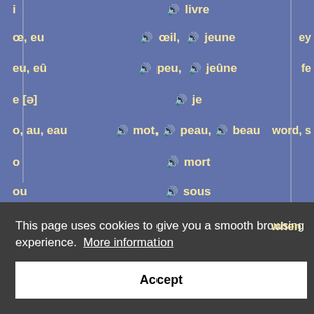| Spelling | Examples | English approx. |
| --- | --- | --- |
| i | 🔊 livre |  |
| œ, eu | 🔊 œil, 🔊 jeune | ey |
| eu, eû | 🔊 peu, 🔊 jeûne | fe |
| e [ə] | 🔊 je |  |
| o, au, eau | 🔊 mot, 🔊 peau, 🔊 beau | word, s |
| o | 🔊 mort |  |
| ou | 🔊 sous | when |
This page uses cookies to give you a smooth browsing experience. More information
Accept